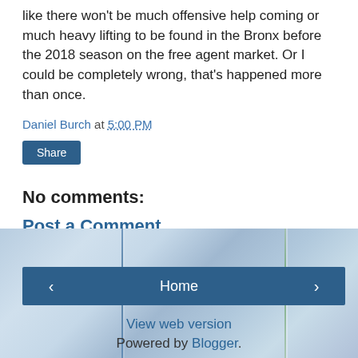like there won't be much offensive help coming or much heavy lifting to be found in the Bronx before the 2018 season on the free agent market. Or I could be completely wrong, that's happened more than once.
Daniel Burch at 5:00 PM
Share
No comments:
Post a Comment
Sorry for the Capatcha... Blame the Russians :)
[Figure (screenshot): Blog footer navigation bar with left arrow, Home button, right arrow, View web version link, and Powered by Blogger text on a blurred blue background]